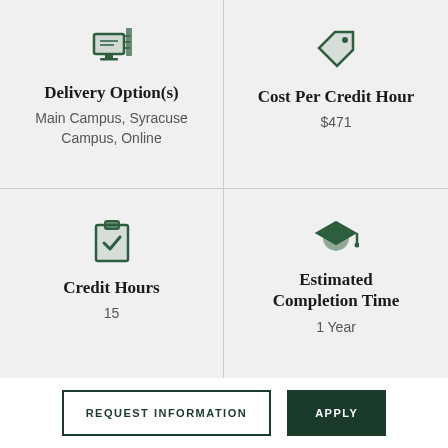[Figure (illustration): Green monitor/computer icon for Delivery Options]
Delivery Option(s)
Main Campus, Syracuse Campus, Online
[Figure (illustration): Green price tag icon for Cost Per Credit Hour]
Cost Per Credit Hour
$471
[Figure (illustration): Green clipboard with checkmark icon for Credit Hours]
Credit Hours
15
[Figure (illustration): Green graduation cap icon for Estimated Completion Time]
Estimated Completion Time
1 Year
REQUEST INFORMATION
APPLY